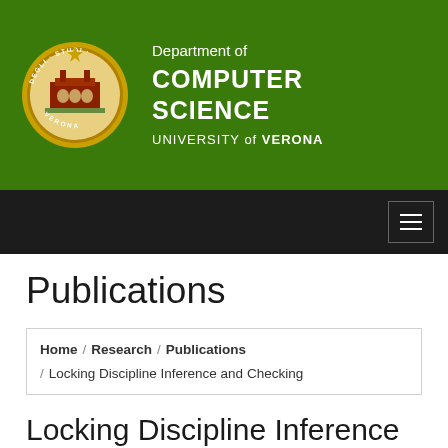[Figure (logo): University of Verona seal/crest logo — circular emblem with red building and text 'DEGLI STUDI' and 'VERONA' around the border]
Department of COMPUTER SCIENCE UNIVERSITY of VERONA
Publications
Home / Research / Publications / Locking Discipline Inference and Checking
Locking Discipline Inference and Checking  (2016)